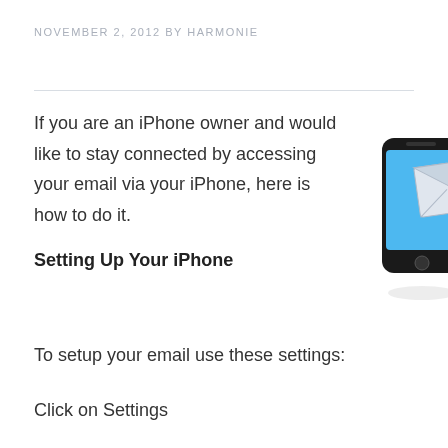NOVEMBER 2, 2012 BY HARMONIE
If you are an iPhone owner and would like to stay connected by accessing your email via your iPhone, here is how to do it.
[Figure (illustration): Illustration of a smartphone with a blue screen and an email envelope flying out of it with a blue swoosh effect]
Setting Up Your iPhone
To setup your email use these settings:
Click on Settings